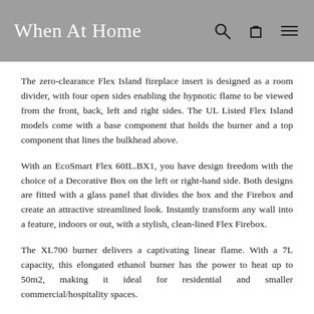When At Home
The zero-clearance Flex Island fireplace insert is designed as a room divider, with four open sides enabling the hypnotic flame to be viewed from the front, back, left and right sides. The UL Listed Flex Island models come with a base component that holds the burner and a top component that lines the bulkhead above.
With an EcoSmart Flex 60IL.BX1, you have design freedom with the choice of a Decorative Box on the left or right-hand side. Both designs are fitted with a glass panel that divides the box and the Firebox and create an attractive streamlined look. Instantly transform any wall into a feature, indoors or out, with a stylish, clean-lined Flex Firebox.
The XL700 burner delivers a captivating linear flame. With a 7L capacity, this elongated ethanol burner has the power to heat up to 50m2, making it ideal for residential and smaller commercial/hospitality spaces.